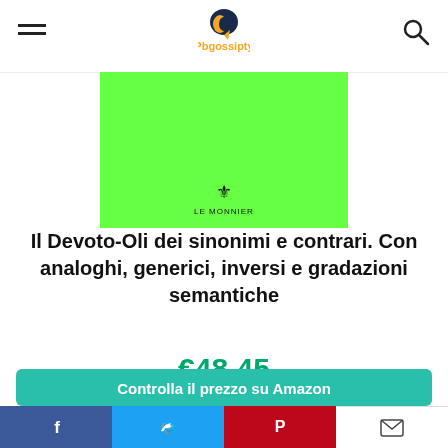Pbgossipty
[Figure (photo): Green product book cover with Le Monnier logo at bottom center]
Il Devoto-Oli dei sinonimi e contrari. Con analoghi, generici, inversi e gradazioni semantiche
€48.45
€51.00
in stock
11 new from €48.45
1 used from €42.99
as of Marzo 19, 2022 2:44 am
Controlla il prezzo su Amazon
Facebook Twitter Pinterest Email